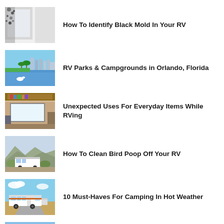[Figure (photo): Black mold on a white window frame/wall corner]
How To Identify Black Mold In Your RV
[Figure (photo): Lake with city skyline, palm trees, and a swan in Orlando, Florida]
RV Parks & Campgrounds in Orlando, Florida
[Figure (photo): Interior of an RV with shelves and a window]
Unexpected Uses For Everyday Items While RVing
[Figure (photo): An RV parked near desert shrubs and hills]
How To Clean Bird Poop Off Your RV
[Figure (photo): A large motorhome RV parked on a dirt road in open terrain]
10 Must-Haves For Camping In Hot Weather
[Figure (photo): A desert highway with mountains in the background under blue sky]
RV LIFE GPS & Campgrounds App - Designed to wo...